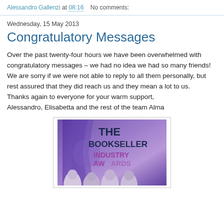Alessandro Gallenzi at 08:16   No comments:
Wednesday, 15 May 2013
Congratulatory Messages
Over the past twenty-four hours we have been overwhelmed with congratulatory messages – we had no idea we had so many friends! We are sorry if we were not able to reply to all them personally, but rest assured that they did reach us and they mean a lot to us.
Thanks again to everyone for your warm support,
Alessandro, Elisabetta and the rest of the team Alma
[Figure (photo): Photo showing The Bookseller Industry Awards banner with a purple background and several people visible at the bottom of the image]